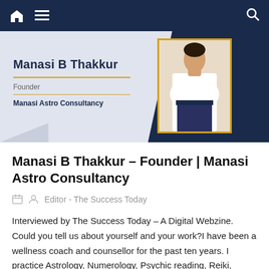Navigation bar with home, menu, and search icons
[Figure (photo): Profile banner with photo of Manasi B Thakkur, showing name, title Founder, and company Manasi Astro Consultancy on a dark navy and light grey background with gold accent line]
Manasi B Thakkur – Founder | Manasi Astro Consultancy
Editor - The Success Today
Interviewed by The Success Today – A Digital Webzine. Could you tell us about yourself and your work?I have been a wellness coach and counsellor for the past ten years. I practice Astrology, Numerology, Psychic reading, Reiki, Graphology and NLP. I have been an advertising and communication professional and have worked for a few years [...]